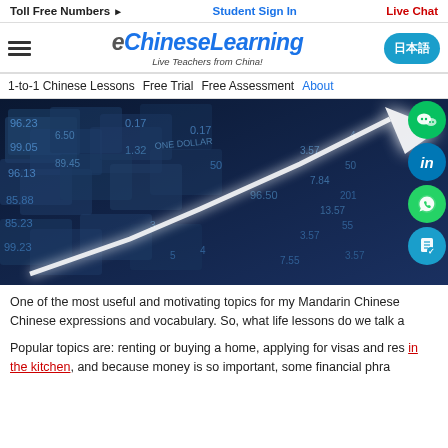Toll Free Numbers ▶   Student Sign In   Live Chat
[Figure (logo): eChineseLearning logo with tagline 'Live Teachers from China!' and hamburger menu, Chinese character button]
1-to-1 Chinese Lessons   Free Trial   Free Assessment   About
[Figure (photo): Financial/stock market themed hero image with dollar bills, numbers, and glowing white upward arrow, with social media icons (WeChat, LinkedIn, WhatsApp, document) on right side]
One of the most useful and motivating topics for my Mandarin Chinese Chinese expressions and vocabulary. So, what life lessons do we talk a
Popular topics are: renting or buying a home, applying for visas and res in the kitchen, and because money is so important, some financial phra